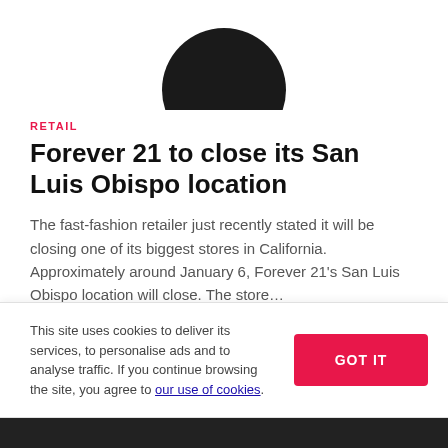[Figure (photo): Partial circular dark profile image cropped at top of page]
RETAIL
Forever 21 to close its San Luis Obispo location
The fast-fashion retailer just recently stated it will be closing one of its biggest stores in California. Approximately around January 6, Forever 21's San Luis Obispo location will close. The store…
Nov 30, 2015
This site uses cookies to deliver its services, to personalise ads and to analyse traffic. If you continue browsing the site, you agree to our use of cookies.